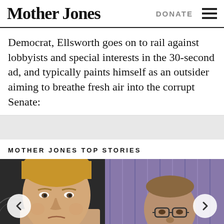Mother Jones | DONATE ☰
Democrat, Ellsworth goes on to rail against lobbyists and special interests in the 30-second ad, and typically paints himself as an outsider aiming to breathe fresh air into the corrupt Senate:
MOTHER JONES TOP STORIES
[Figure (photo): Photo of two men, one in foreground with blond hair wearing a suit with red tie, another partially visible in background, with purple curtains/blinds behind them. Navigation arrows on left and right sides of image.]